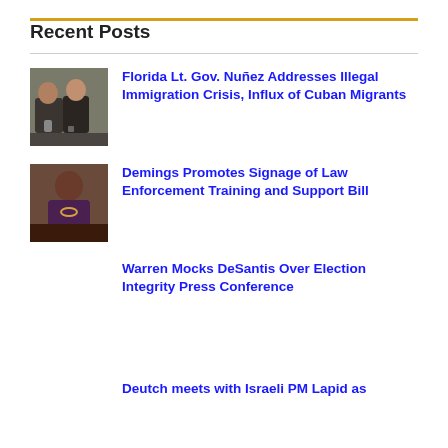Recent Posts
Florida Lt. Gov. Nuñez Addresses Illegal Immigration Crisis, Influx of Cuban Migrants
Demings Promotes Signage of Law Enforcement Training and Support Bill
Warren Mocks DeSantis Over Election Integrity Press Conference
Deutch meets with Israeli PM Lapid as